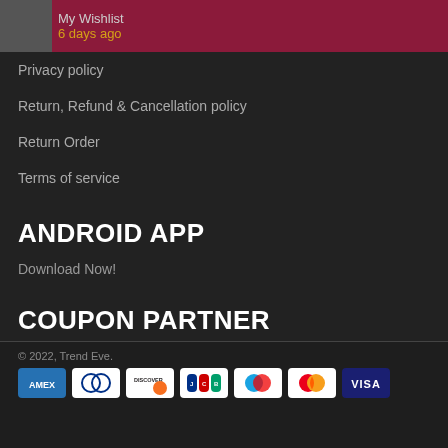My Wishlist  6 days ago
Privacy policy
Return, Refund & Cancellation policy
Return Order
Terms of service
ANDROID APP
Download Now!
COUPON PARTNER
Couponraja.in
© 2022, Trend Eve.
[Figure (other): Payment method icons: AMEX, Diners Club, Discover, JCB, Maestro, Mastercard, Visa]